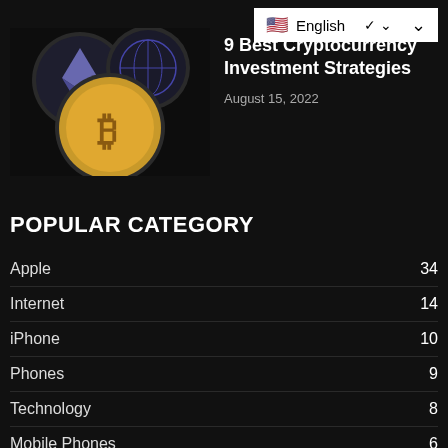[Figure (screenshot): Language selector dropdown showing English with US flag and chevron arrow]
[Figure (photo): Cryptocurrency coins including Bitcoin (BTC) and Ethereum (ETH) on dark background]
9 Best Cryptocurrency Investment Strategies
August 15, 2022
POPULAR CATEGORY
Apple  34
Internet  14
iPhone  10
Phones  9
Technology  8
Mobile Phones  6
Macbook  5
Cloud Tech  3